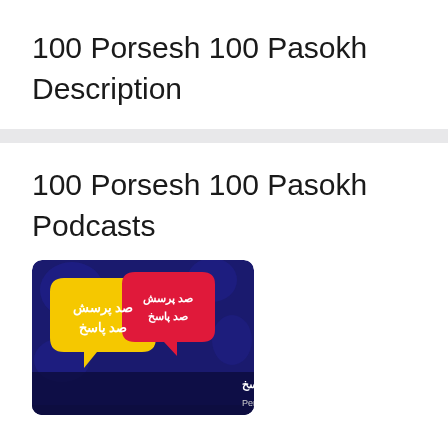100 Porsesh 100 Pasokh Description
100 Porsesh 100 Pasokh Podcasts
[Figure (illustration): Podcast cover art for '100 Porsesh 100 Pasokh' (صد پرسش صد پاسخ). Dark navy/purple background with two speech bubbles: a yellow bubble on the left and a red/pink bubble on the right, both containing white Arabic/Persian text reading 'صد پرسش صد پاسخ'. At the bottom, text reads '#صدپرسش_صدپاسخ' and 'یک‌شنبه‌ها از PersianBMS']